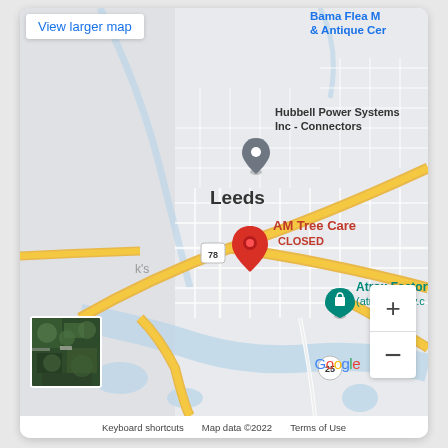[Figure (map): Google Maps screenshot showing Leeds, Alabama area. A red location pin marks 'AM Tree Care CLOSED' on US-78. Other landmarks include Hubbell Power Systems Inc - Connectors (with a gray Google Maps pin), Bama Flea Market & Antique Center (top right, in blue), and Atrox Factory (atroxfactory.com) in teal. Highway 78 and Highway 25 are labeled. A yellow diagonal road (US-78) cuts across the map. Zoom +/- controls at bottom right. Satellite thumbnail at bottom left. Google logo and map attribution at bottom.]
View larger map
Bama Flea M & Antique Cer
Hubbell Power Systems Inc - Connectors
Leeds
k's
78
AM Tree Care CLOSED
Atrox Factory (atroxfactory.c
25
Keyboard shortcuts   Map data ©2022   Terms of Use